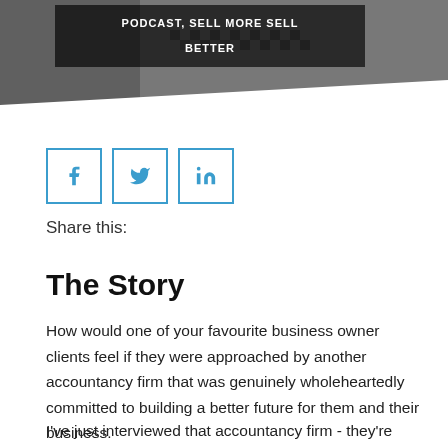[Figure (photo): Header image with a person in a checkered shirt on a dark background, with a podcast label overlay reading 'PODCAST, SELL MORE SELL BETTER']
Share this:
The Story
How would one of your favourite business owner clients feel if they were approached by another accountancy firm that was genuinely wholeheartedly committed to building a better future for them and their business.
I've just interviewed that accountancy firm - they're called